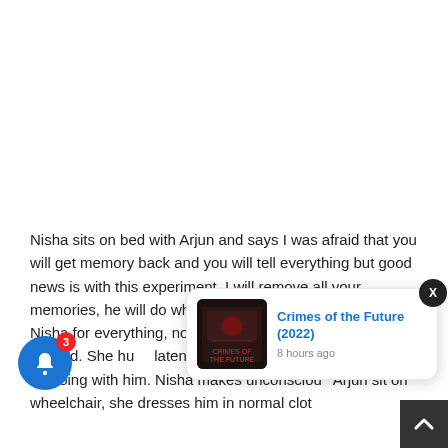[Figure (other): White blank area representing advertisement or image placeholder]
Nisha sits on bed with Arjun and says I was afraid that you will get memory back and you will tell everything but good news is with this experiment, I will remove all your memories, he will do what Nisha says, he will listen to Nisha for everything, now I will make my Adi what I wanted. She hu[gs] lateness but no[...] in car and [...] a must be doing with him. Nisha makes unconscious Arjun sit on wheelchair, she dresses him in normal cloth
[Figure (screenshot): Notification popup showing 'Crimes of the Future (2022)' with movie poster thumbnail and '8 hours ago' timestamp, with close X button]
[Figure (other): Blue bell notification button with red badge showing count 3]
[Figure (other): Dark scroll-to-top arrow button in bottom right corner]